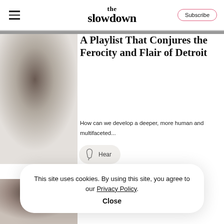the slowdown — Subscribe
A Playlist That Conjures the Ferocity and Flair of Detroit
How can we develop a deeper, more human and multifaceted...
Hear
Wild World of Digital
This site uses cookies. By using this site, you agree to our Privacy Policy. Close